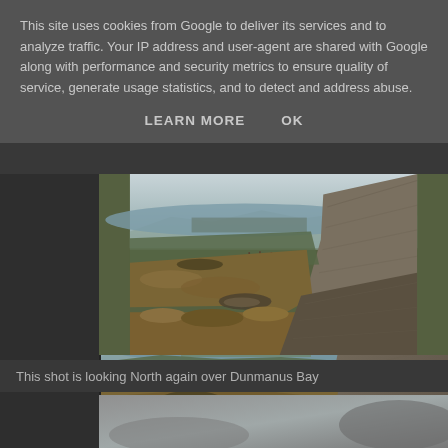This site uses cookies from Google to deliver its services and to analyze traffic. Your IP address and user-agent are shared with Google along with performance and security metrics to ensure quality of service, generate usage statistics, and to detect and address abuse.
LEARN MORE    OK
[Figure (photo): Landscape photo looking North over Dunmanus Bay, showing rocky hillside terrain with dry golden grass in the foreground, a large slanted rock formation on the right, fence posts in the middle distance, green fields and a coastal bay with a town visible in the background under a hazy sky.]
This shot is looking North again over Dunmanus Bay
[Figure (photo): Partial view of a second landscape photograph, partially cut off at the bottom of the page, showing a grey misty scene.]